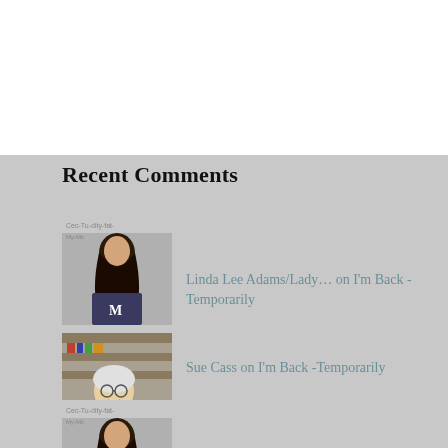Recent Comments
Linda Lee Adams/Lady… on I'm Back - Temporarily
Sue Cass on I'm Back -Temporarily
Linda Lee Adams/Lady… on I'm Back - Temporarily
Gerri on The Dream (33,) One Question S…
[Figure (photo): Partially visible avatar photo at bottom]